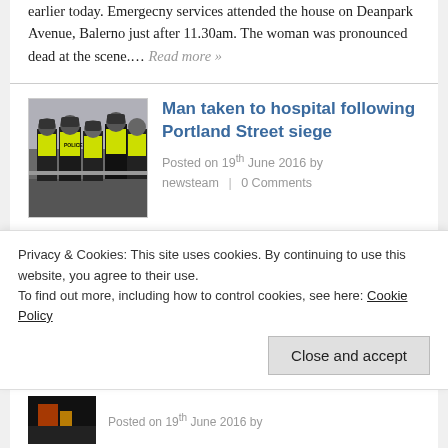earlier today. Emergecny services attended the house on Deanpark Avenue, Balerno just after 11.30am. The woman was pronounced dead at the scene…. Read more »
[Figure (photo): Group of police officers in black uniforms and hi-visibility yellow vests standing together on a street]
Man taken to hospital following Portland Street siege
Posted on 19th June 2016 by newsteam | 0 Comments
A street in Leith was closed earlier as police dealt with an incident at a flat on Portland Street. The street was closed at around 10.30am after a man caused a disturbance in the property. All emergency services were in… Read more »
Privacy & Cookies: This site uses cookies. By continuing to use this website, you agree to their use. To find out more, including how to control cookies, see here: Cookie Policy
Close and accept
[Figure (photo): Partial thumbnail image of a dark scene with orange/red light]
Posted on 19th June 2016 by